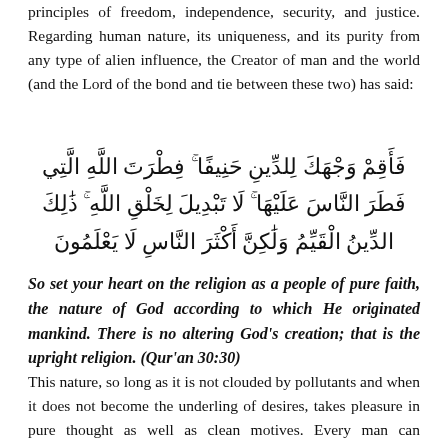principles of freedom, independence, security, and justice. Regarding human nature, its uniqueness, and its purity from any type of alien influence, the Creator of man and the world (and the Lord of the bond and tie between these two) has said:
فَأَقِمْ وَجْهَكَ لِلدِّينِ حَنِيفًا ۚ فِطْرَتَ اللَّهِ الَّتِي فَطَرَ النَّاسَ عَلَيْهَا ۚ لَا تَبْدِيلَ لِخَلْقِ اللَّهِ ۚ ذَٰلِكَ الدِّينُ الْقَيِّمُ وَلَٰكِنَّ أَكْثَرَ النَّاسِ لَا يَعْلَمُونَ
So set your heart on the religion as a people of pure faith, the nature of God according to which He originated mankind. There is no altering God's creation; that is the upright religion. (Qur'an 30:30)
This nature, so long as it is not clouded by pollutants and when it does not become the underling of desires, takes pleasure in pure thought as well as clean motives. Every man can experience this truth in